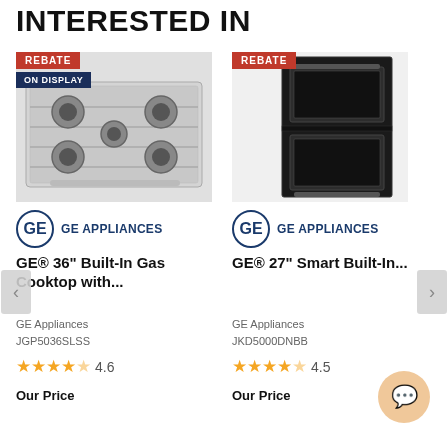INTERESTED IN
[Figure (photo): GE gas cooktop appliance with 5 burners, stainless steel. Has REBATE and ON DISPLAY badges.]
[Figure (photo): GE double wall oven in black finish. Has REBATE badge.]
[Figure (logo): GE Appliances logo - left product]
[Figure (logo): GE Appliances logo - right product]
GE® 36" Built-In Gas Cooktop with...
GE® 27" Smart Built-In...
GE Appliances
JGP5036SLSS
GE Appliances
JKD5000DNBB
4.6
4.5
Our Price
Our Price